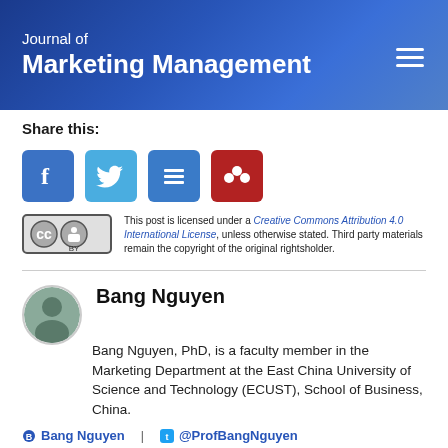Journal of Marketing Management
Share this:
[Figure (other): Social share icons: Facebook, Twitter, Menu/Article, Mendeley]
This post is licensed under a Creative Commons Attribution 4.0 International License, unless otherwise stated. Third party materials remain the copyright of the original rightsholder.
[Figure (logo): Creative Commons CC BY badge]
Bang Nguyen
Bang Nguyen, PhD, is a faculty member in the Marketing Department at the East China University of Science and Technology (ECUST), School of Business, China.
Bang Nguyen   @ProfBangNguyen